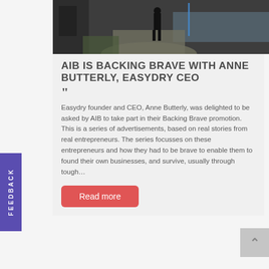[Figure (photo): A person walking away along a waterfront path, dark clothing, overcast day, water visible on the right side]
AIB IS BACKING BRAVE WITH ANNE BUTTERLY, EASYDRY CEO
Easydry founder and CEO, Anne Butterly, was delighted to be asked by AIB to take part in their Backing Brave promotion. This is a series of advertisements, based on real stories from real entrepreneurs. The series focusses on these entrepreneurs and how they had to be brave to enable them to found their own businesses, and survive, usually through tough...
Read more